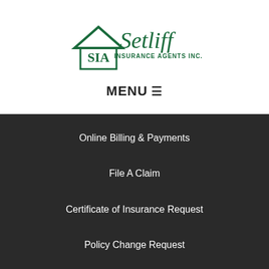[Figure (logo): Setliff Insurance Agents Inc. logo with house icon and stylized 'SIA' letters]
MENU ☰
Online Billing & Payments
File A Claim
Certificate of Insurance Request
Policy Change Request